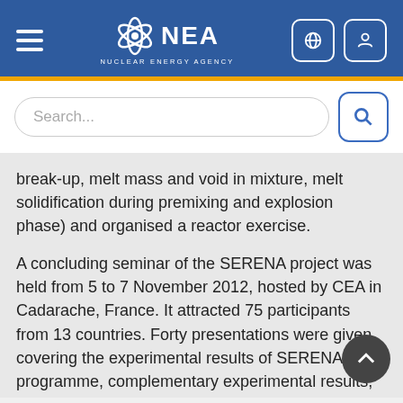NEA Nuclear Energy Agency
[Figure (screenshot): NEA website mobile header with hamburger menu, NEA Nuclear Energy Agency logo, globe icon and user icon buttons]
Search...
break-up, melt mass and void in mixture, melt solidification during premixing and explosion phase) and organised a reactor exercise.
A concluding seminar of the SERENA project was held from 5 to 7 November 2012, hosted by CEA in Cadarache, France. It attracted 75 participants from 13 countries. Forty presentations were given covering the experimental results of SERENA programme, complementary experimental results, phenomenology and model development,